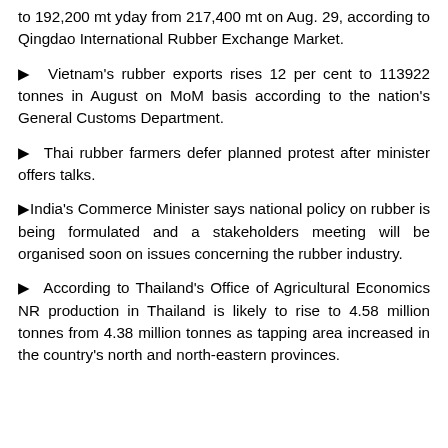to 192,200 mt yday from 217,400 mt on Aug. 29, according to Qingdao International Rubber Exchange Market.
▶ Vietnam's rubber exports rises 12 per cent to 113922 tonnes in August on MoM basis according to the nation's General Customs Department.
▶ Thai rubber farmers defer planned protest after minister offers talks.
▶India's Commerce Minister says national policy on rubber is being formulated and a stakeholders meeting will be organised soon on issues concerning the rubber industry.
▶ According to Thailand's Office of Agricultural Economics NR production in Thailand is likely to rise to 4.58 million tonnes from 4.38 million tonnes as tapping area increased in the country's north and north-eastern provinces.